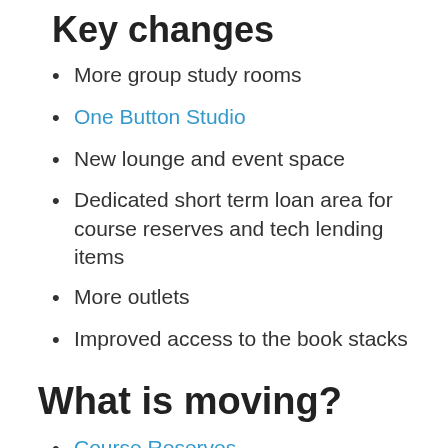Key changes
More group study rooms
One Button Studio
New lounge and event space
Dedicated short term loan area for course reserves and tech lending items
More outlets
Improved access to the book stacks
What is moving?
Course Reserves